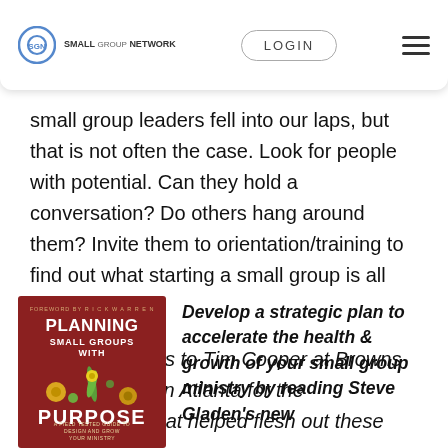SGN Small Group Network | LOGIN | menu
small group leaders fell into our laps, but that is not often the case. Look for people with potential. Can they hold a conversation? Do others hang around them? Invite them to orientation/training to find out what starting a small group is all about.
A special thanks to Tim Cooper at Browns Bridge church in Atlanta for the conversation that helped flesh out these ideas.
[Figure (photo): Book cover: Planning Small Groups with Purpose by Steve Gladen, red cover with flower illustrations]
Develop a strategic plan to accelerate the health & growth of your small group ministry by reading Steve Gladen's new